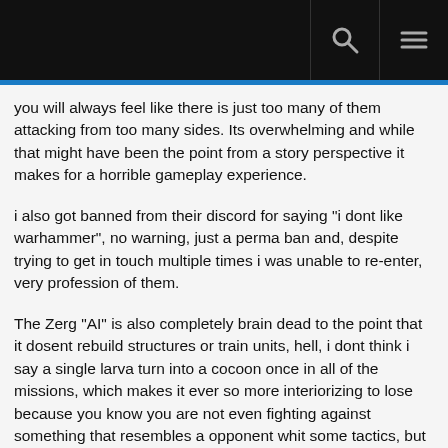you will always feel like there is just too many of them attacking from too many sides. Its overwhelming and while that might have been the point from a story perspective it makes for a horrible gameplay experience.
i also got banned from their discord for saying "i dont like warhammer", no warning, just a perma ban and, despite trying to get in touch multiple times i was unable to re-enter, very profession of them.
The Zerg "AI" is also completely brain dead to the point that it dosent rebuild structures or train units, hell, i dont think i say a single larva turn into a cocoon once in all of the missions, which makes it ever so more interiorizing to lose because you know you are not even fighting against something that resembles a opponent whit some tactics, but instead just a endless horde of units, spawned out of thin air and ordered to attack in your general direction.